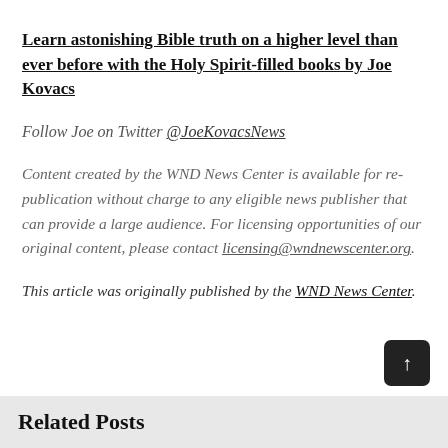Learn astonishing Bible truth on a higher level than ever before with the Holy Spirit-filled books by Joe Kovacs
Follow Joe on Twitter @JoeKovacsNews
Content created by the WND News Center is available for re-publication without charge to any eligible news publisher that can provide a large audience. For licensing opportunities of our original content, please contact licensing@wndnewscenter.org.
This article was originally published by the WND News Center.
Related Posts